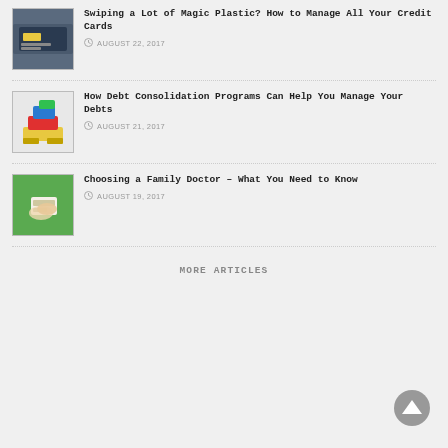[Figure (photo): Thumbnail image of credit cards / wallet with jeans]
Swiping a Lot of Magic Plastic? How to Manage All Your Credit Cards
AUGUST 22, 2017
[Figure (photo): Thumbnail image of colorful building blocks (LEGO-style)]
How Debt Consolidation Programs Can Help You Manage Your Debts
AUGUST 21, 2017
[Figure (photo): Thumbnail image of a hand holding a card with green background]
Choosing a Family Doctor – What You Need to Know
AUGUST 19, 2017
MORE ARTICLES